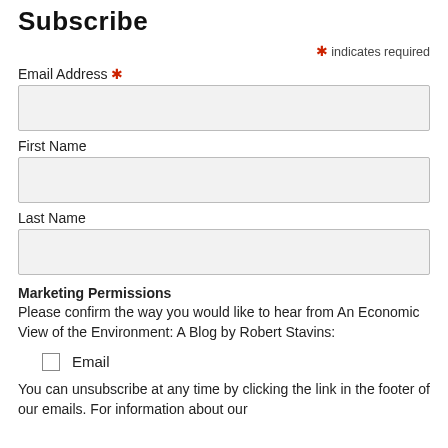Subscribe
* indicates required
Email Address *
First Name
Last Name
Marketing Permissions
Please confirm the way you would like to hear from An Economic View of the Environment: A Blog by Robert Stavins:
Email
You can unsubscribe at any time by clicking the link in the footer of our emails. For information about our